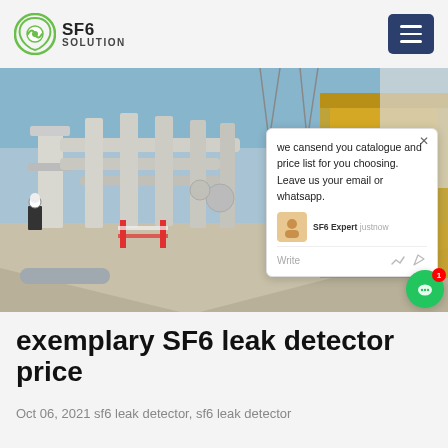SF6 SOLUTION
[Figure (photo): Industrial electrical substation with large grey pipe structures, workers visible, yellow crane/equipment on right side. Chat popup overlay visible with message: 'we cansend you catalogue and price list for you choosing. Leave us your email or whatsapp.' Signed by SF6 Expert, justnow.]
exemplary SF6 leak detector price
Oct 06, 2021 sf6 leak detector, sf6 leak detector